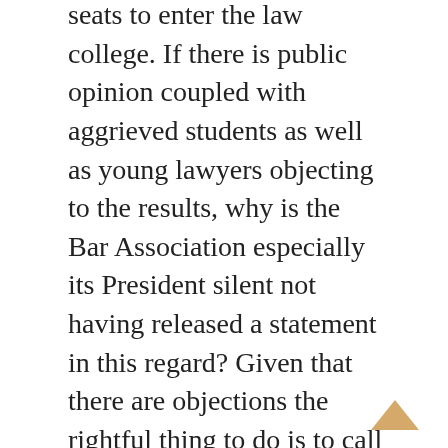seats to enter the law college. If there is public opinion coupled with aggrieved students as well as young lawyers objecting to the results, why is the Bar Association especially its President silent not having released a statement in this regard? Given that there are objections the rightful thing to do is to call for an independent inquiry while suspending admissions given that there may be a need to redo the paper if it has been leaked?
Since the exam results concerns a minority, is the Bar Association President silent because of his interest in securing his political role or is there other reasons? We do not know because he is wearing too many hats all conflicting with one another at various times given the sensitivity of the positions held. The investigation team should be able to divulge the truth. It is the impartiality that we expect from the Bar Association especially that